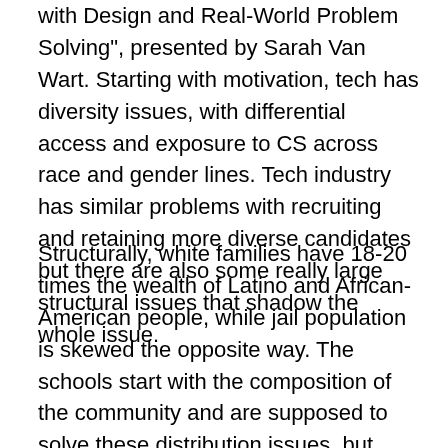with Design and Real-World Problem Solving", presented by Sarah Van Wart. Starting with motivation, tech has diversity issues, with differential access and exposure to CS across race and gender lines. Tech industry has similar problems with recruiting and retaining more diverse candidates but there are also some really large structural issues that shadow the whole issue.
Structurally, white families have 18-20 times the wealth of Latino and African-American people, while jail population is skewed the opposite way. The schools start with the composition of the community and are supposed to solve these distribution issues, but instead they continue to reflect the composition that they inherited. US schools are highly tracked and White and Asian students tend to track into Advanced Placement, where Black and Latino students track into different (and possibly remedial)